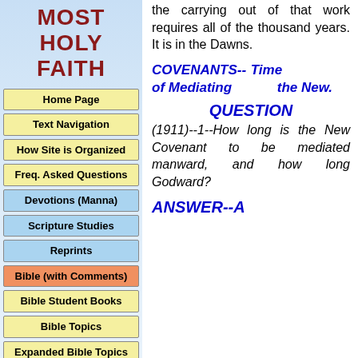MOST HOLY FAITH
Home Page
Text Navigation
How Site is Organized
Freq. Asked Questions
Devotions (Manna)
Scripture Studies
Reprints
Bible (with Comments)
Bible Student Books
Bible Topics
Expanded Bible Topics
Bible Student Webs
Miscellaneous
the carrying out of that work requires all of the thousand years. It is in the Dawns.
COVENANTS-- Time of Mediating the New.
QUESTION
(1911)--1--How long is the New Covenant to be mediated manward, and how long Godward?
ANSWER--A